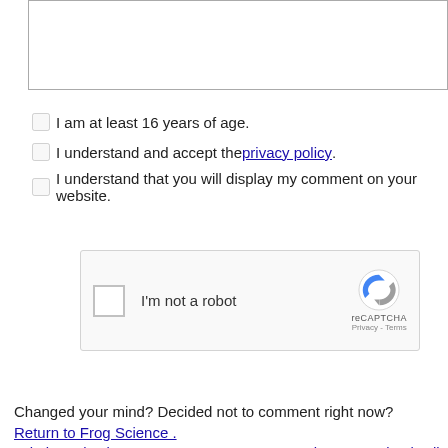[Figure (screenshot): Partial text area input box (top portion cut off)]
I am at least 16 years of age.
I understand and accept the privacy policy.
I understand that you will display my comment on your website.
[Figure (screenshot): reCAPTCHA widget with checkbox labeled I'm not a robot and reCAPTCHA logo with Privacy and Terms links]
Submit Comment
Changed your mind? Decided not to comment right now?
Return to Frog Science .
Join in and write your own page! It's easy to do. How? Simply click here to retu... Easy Science Experiments.